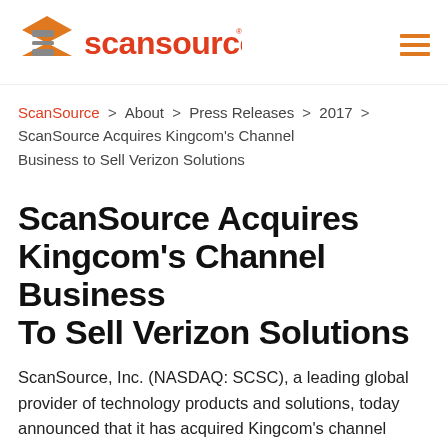[Figure (logo): ScanSource logo with orange and grey geometric S icon and orange 'scansource' wordmark]
ScanSource > About > Press Releases > 2017 > ScanSource Acquires Kingcom's Channel Business to Sell Verizon Solutions
ScanSource Acquires Kingcom's Channel Business To Sell Verizon Solutions
ScanSource, Inc. (NASDAQ: SCSC), a leading global provider of technology products and solutions, today announced that it has acquired Kingcom's channel business assets and associated support organization to sell communication solutions